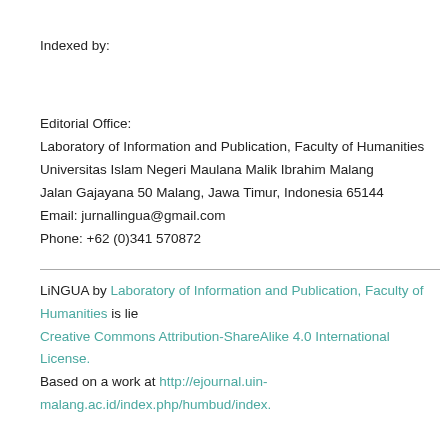Indexed by:
Editorial Office:
Laboratory of Information and Publication, Faculty of Humanities
Universitas Islam Negeri Maulana Malik Ibrahim Malang
Jalan Gajayana 50 Malang, Jawa Timur, Indonesia 65144
Email: jurnallingua@gmail.com
Phone: +62 (0)341 570872
LiNGUA by Laboratory of Information and Publication, Faculty of Humanities is licensed under a Creative Commons Attribution-ShareAlike 4.0 International License.
Based on a work at http://ejournal.uin-malang.ac.id/index.php/humbud/index.